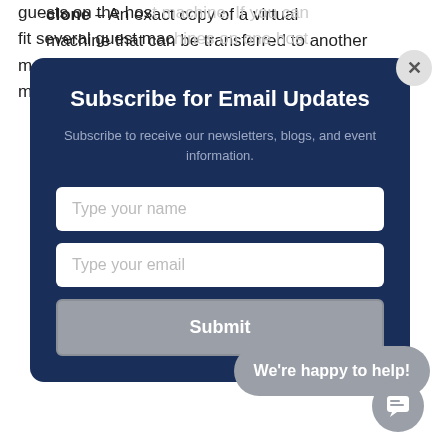clone – An exact copy of a virtual machine that can be transferred to another
[Figure (screenshot): Email subscription modal popup with dark navy blue background. Title: 'Subscribe for Email Updates'. Subtitle: 'Subscribe to receive our newsletters, blogs, and event information.' Two input fields: 'Type your name' and 'Type your email'. A gray Submit button.]
guests on the host machine. If you can fit several guest machines on one host machine, you can save a substantial amount of money.
[Figure (other): Gray rounded chat bubble saying 'We're happy to help!' with a chat icon button below it.]